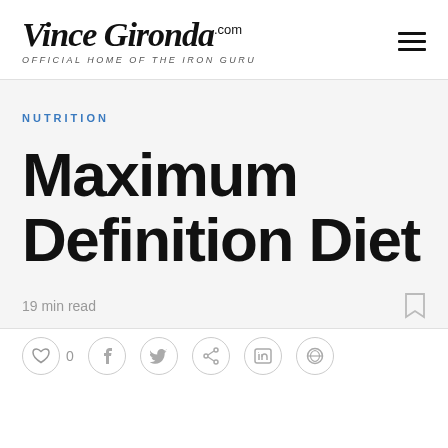Vince Gironda.com OFFICIAL HOME OF THE IRON GURU
NUTRITION
Maximum Definition Diet
19 min read